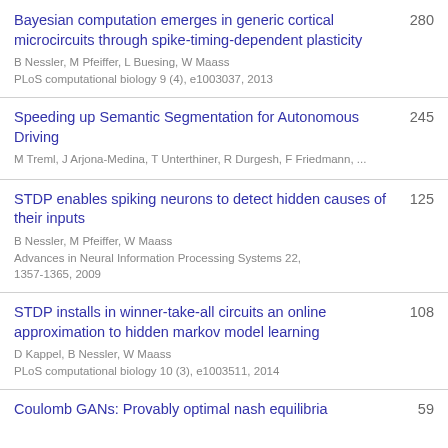Bayesian computation emerges in generic cortical microcircuits through spike-timing-dependent plasticity — B Nessler, M Pfeiffer, L Buesing, W Maass — PLoS computational biology 9 (4), e1003037, 2013 — 280
Speeding up Semantic Segmentation for Autonomous Driving — M Treml, J Arjona-Medina, T Unterthiner, R Durgesh, F Friedmann, ... — 245
STDP enables spiking neurons to detect hidden causes of their inputs — B Nessler, M Pfeiffer, W Maass — Advances in Neural Information Processing Systems 22, 1357-1365, 2009 — 125
STDP installs in winner-take-all circuits an online approximation to hidden markov model learning — D Kappel, B Nessler, W Maass — PLoS computational biology 10 (3), e1003511, 2014 — 108
Coulomb GANs: Provably optimal nash equilibria ... — 59